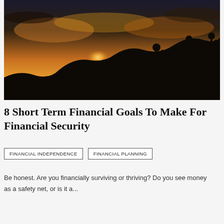[Figure (photo): Silhouettes of people climbing a rocky hill and helping each other up, against a warm sunset sky with orange and golden clouds.]
8 Short Term Financial Goals To Make For Financial Security
FINANCIAL INDEPENDENCE
FINANCIAL PLANNING
Be honest. Are you financially surviving or thriving? Do you see money as a safety net, or is it a...